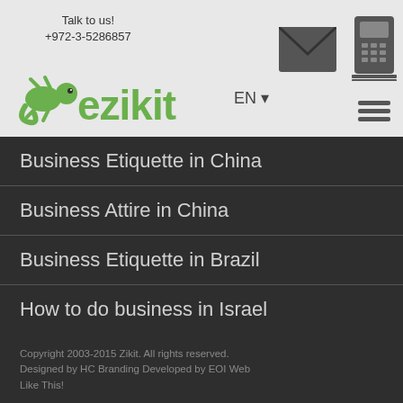Talk to us!
+972-3-5286857
[Figure (logo): Ezikit green gecko logo with stylized text]
EN
[Figure (illustration): Dark envelope/mail icon]
[Figure (illustration): Dark telephone/phone icon]
[Figure (illustration): Hamburger/menu icon with horizontal lines]
Business Etiquette in China
Business Attire in China
Business Etiquette in Brazil
How to do business in Israel
Copyright 2003-2015 Zikit. All rights reserved. Designed by HC Branding Developed by EOI Web Like This!